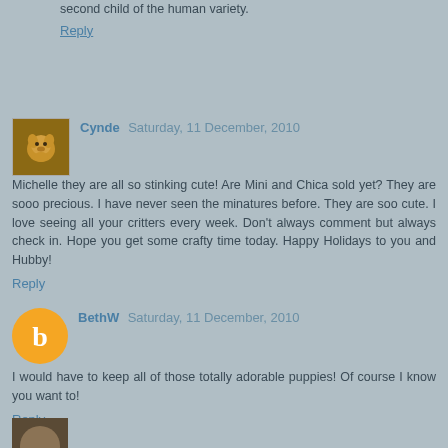second child of the human variety.
Reply
Cynde  Saturday, 11 December, 2010
Michelle they are all so stinking cute! Are Mini and Chica sold yet? They are sooo precious. I have never seen the minatures before. They are soo cute. I love seeing all your critters every week. Don't always comment but always check in. Hope you get some crafty time today. Happy Holidays to you and Hubby!
Reply
BethW  Saturday, 11 December, 2010
I would have to keep all of those totally adorable puppies! Of course I know you want to!
Reply